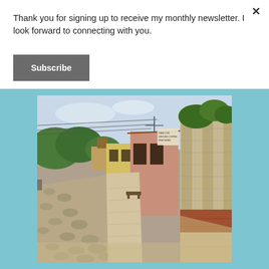Thank you for signing up to receive my monthly newsletter. I look forward to connecting with you.
Subscribe
[Figure (photo): Street scene showing a cobblestone road with colorful single-story buildings on one side, stone/brick facade on the right, trees and utility wires visible above, a small sign on a building reads cafe and other text.]